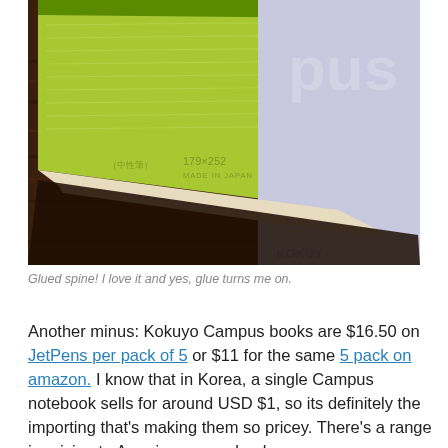[Figure (photo): Close-up photo of Kokuyo Campus notebooks on a wooden surface. One notebook has a green/lime cover with Japanese text, '179x252', and 'MADE IN JAPAN' printed on it. Another notebook to the right has a light purple cover with 'Kokuyo' text visible. The glued spines of the notebooks are visible at the bottom of the cover area.]
Glued spine!  I love it and yes, glue turns me on.
Another minus: Kokuyo Campus books are $16.50 on JetPens per pack of 5 or $11 for the same 5 pack on amazon.  I know that in Korea, a single Campus notebook sells for around USD $1, so its definitely the importing that's making them so pricey.  There's a range in pricing to American comp books